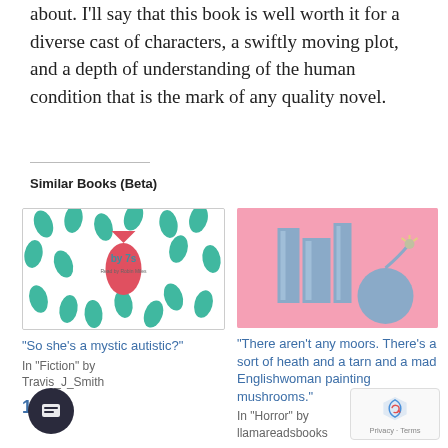about. I'll say that this book is well worth it for a diverse cast of characters, a swiftly moving plot, and a depth of understanding of the human condition that is the mark of any quality novel.
Similar Books (Beta)
[Figure (illustration): Book cover for 'by 7s' with teal leaf patterns and a red/pink fish in the center on white background]
"So she's a mystic autistic?"
In "Fiction" by Travis_J_Smith
18
[Figure (illustration): Book cover with pink background showing stylized blue-gray books and a bomb illustration]
"There aren't any moors. There's a sort of heath and a tarn and a mad Englishwoman painting mushrooms."
In "Horror" by llamareadsbooks